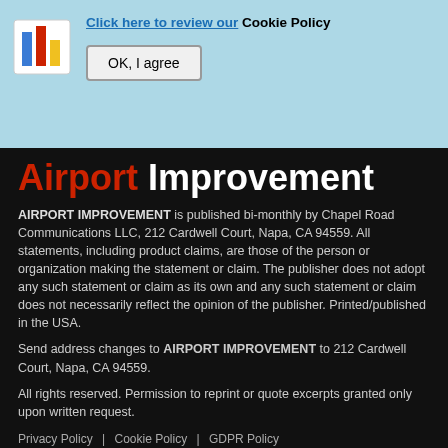[Figure (logo): Colorful bar chart style logo icon with blue, red, and yellow bars on a white background]
Click here to review our Cookie Policy
OK, I agree
Airport Improvement
AIRPORT IMPROVEMENT is published bi-monthly by Chapel Road Communications LLC, 212 Cardwell Court, Napa, CA 94559. All statements, including product claims, are those of the person or organization making the statement or claim. The publisher does not adopt any such statement or claim as its own and any such statement or claim does not necessarily reflect the opinion of the publisher. Printed/published in the USA.
Send address changes to AIRPORT IMPROVEMENT to 212 Cardwell Court, Napa, CA 94559.
All rights reserved. Permission to reprint or quote excerpts granted only upon written request.
Privacy Policy  |  Cookie Policy  |  GDPR Policy